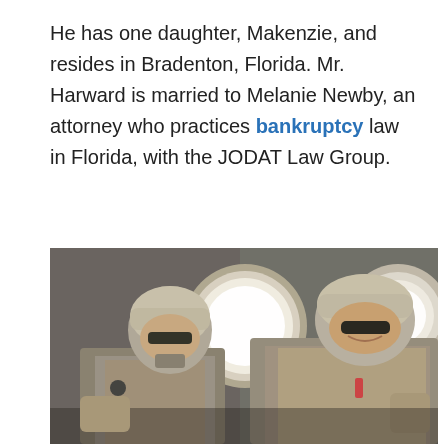He has one daughter, Makenzie, and resides in Bradenton, Florida. Mr. Harward is married to Melanie Newby, an attorney who practices bankruptcy law in Florida, with the JODAT Law Group.
[Figure (photo): Two people in military combat gear (helmets, body armor, camouflage uniforms) seated inside what appears to be a military aircraft, with circular windows visible behind them.]